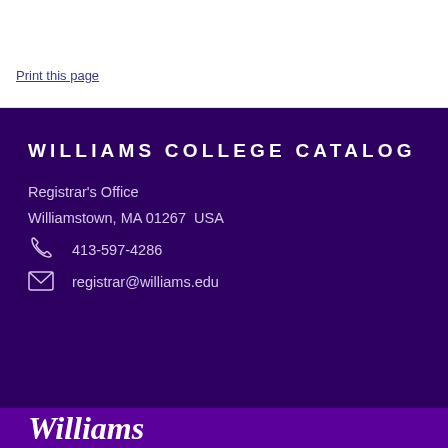Print this page
WILLIAMS COLLEGE CATALOG
Registrar's Office
Williamstown, MA 01267  USA
413-597-4286
registrar@williams.edu
Williams